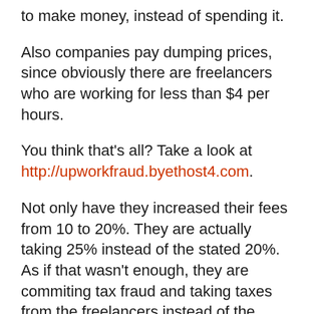to make money, instead of spending it.
Also companies pay dumping prices, since obviously there are freelancers who are working for less than $4 per hours.
You think that's all? Take a look at http://upworkfraud.byethost4.com.
Not only have they increased their fees from 10 to 20%. They are actually taking 25% instead of the stated 20%. As if that wasn't enough, they are commiting tax fraud and taking taxes from the freelancers instead of the clients by twisting the transaction history.
And support is the worst ever. No help at all. Fast at closing tickets without solving